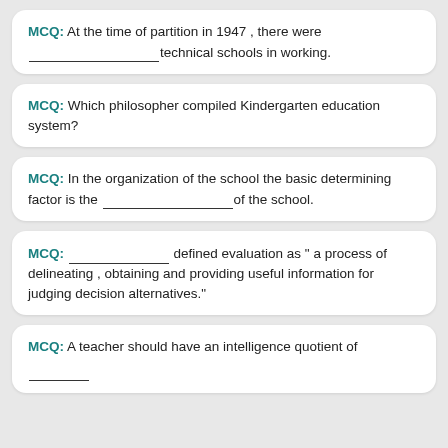MCQ: At the time of partition in 1947 , there were ____________technical schools in working.
MCQ: Which philosopher compiled Kindergarten education system?
MCQ: In the organization of the school the basic determining factor is the ________________of the school.
MCQ: ______________ defined evaluation as " a process of delineating , obtaining and providing useful information for judging decision alternatives."
MCQ: A teacher should have an intelligence quotient of ___________